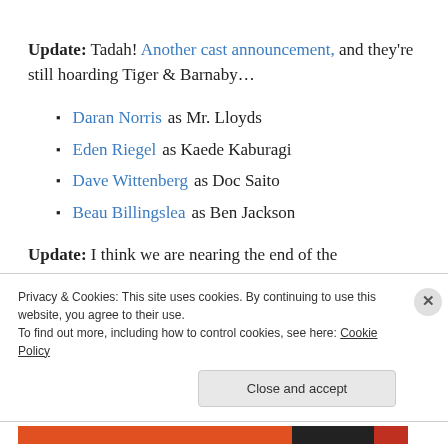Update: Tadah! Another cast announcement, and they're still hoarding Tiger & Barnaby…
Daran Norris as Mr. Lloyds
Eden Riegel as Kaede Kaburagi
Dave Wittenberg as Doc Saito
Beau Billingslea as Ben Jackson
Update: I think we are nearing the end of the
Privacy & Cookies: This site uses cookies. By continuing to use this website, you agree to their use. To find out more, including how to control cookies, see here: Cookie Policy